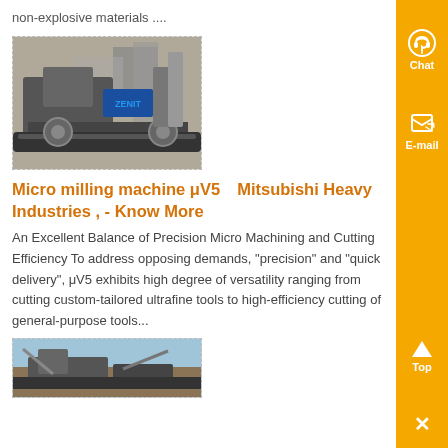non-explosive materials ....
[Figure (photo): Industrial milling/crushing machine equipment with ZENIT branding, shown at an outdoor site with industrial structures in background]
Micro milling machine μV5　Mitsubishi Heavy Industries , - Know More
An Excellent Balance of Precision Micro Machining and Cutting Efficiency To address opposing demands, "precision" and "quick delivery", μV5 exhibits high degree of versatility ranging from cutting custom-tailored ultrafine tools to high-efficiency cutting of general-purpose tools...
[Figure (photo): Industrial mining or quarrying equipment/machinery at an outdoor site]